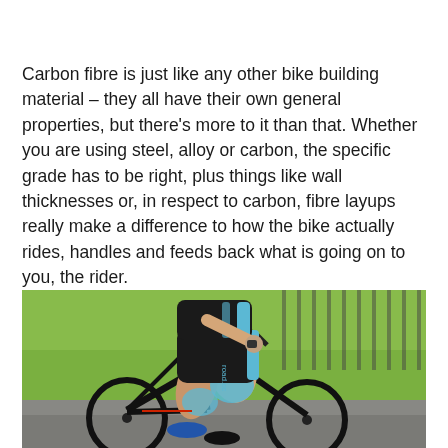Carbon fibre is just like any other bike building material – they all have their own general properties, but there's more to it than that. Whether you are using steel, alloy or carbon, the specific grade has to be right, plus things like wall thicknesses or, in respect to carbon, fibre layups really make a difference to how the bike actually rides, handles and feeds back what is going on to you, the rider.
[Figure (photo): A cyclist in a black and blue road.cc kit riding a black road bicycle, photographed from the side with a blurred green background.]